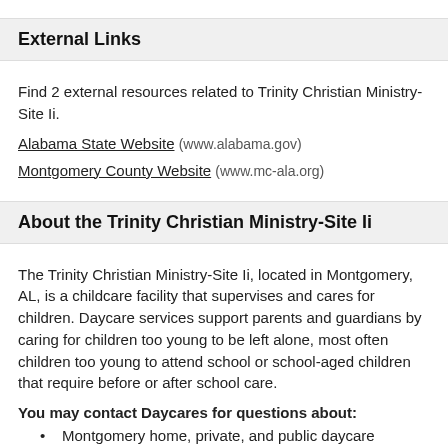External Links
Find 2 external resources related to Trinity Christian Ministry-Site Ii.
Alabama State Website (www.alabama.gov)
Montgomery County Website (www.mc-ala.org)
About the Trinity Christian Ministry-Site Ii
The Trinity Christian Ministry-Site Ii, located in Montgomery, AL, is a childcare facility that supervises and cares for children. Daycare services support parents and guardians by caring for children too young to be left alone, most often children too young to attend school or school-aged children that require before or after school care.
You may contact Daycares for questions about:
Montgomery home, private, and public daycare programs